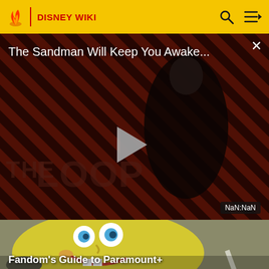DISNEY WIKI
[Figure (screenshot): Video player showing 'The Sandman Will Keep You Awake...' with a dark-cloaked figure against red diagonal striped background. THE LOOP branding visible. Play button in center. NaN:NaN timestamp shown.]
The Sandman Will Keep You Awake...
NaN:NaN
[Figure (screenshot): SpongeBob SquarePants character image, yellow sponge with big smile, partially visible against sandy background.]
Fandom's Guide to Paramount+